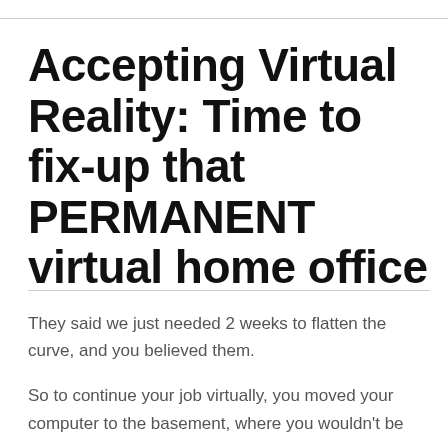Accepting Virtual Reality: Time to fix-up that PERMANENT virtual home office
They said we just needed 2 weeks to flatten the curve, and you believed them.
So to continue your job virtually, you moved your computer to the basement, where you wouldn't be